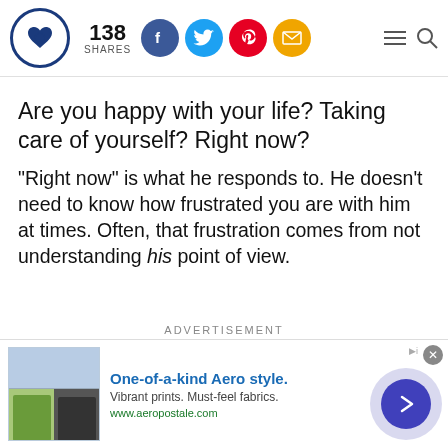138 SHARES [social icons: Facebook, Twitter, Pinterest, Email] [hamburger menu] [search]
Are you happy with your life? Taking care of yourself? Right now?
"Right now" is what he responds to. He doesn't need to know how frustrated you are with him at times. Often, that frustration comes from not understanding his point of view.
ADVERTISEMENT
[Figure (screenshot): Advertisement banner for Aeropostale: 'One-of-a-kind Aero style. Vibrant prints. Must-feel fabrics. www.aeropostale.com' with product images on left and navigation arrow on right.]